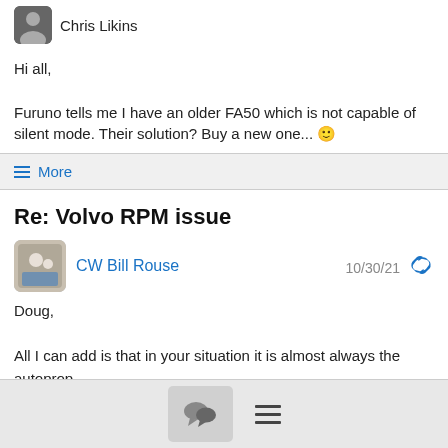Chris Likins
Hi all,

Furuno tells me I have an older FA50 which is not capable of silent mode. Their solution? Buy a new one... 😊
≡ More
Re: Volvo RPM issue
CW Bill Rouse  10/30/21
Doug,

All I can add is that in your situation it is almost always the autoprop.